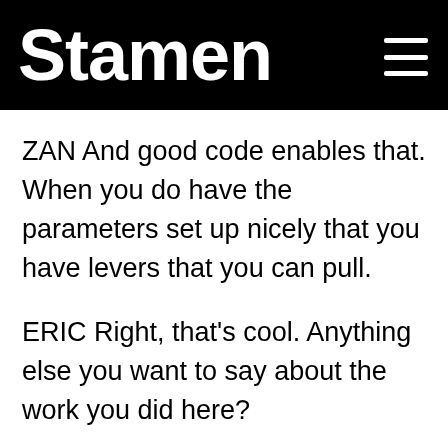Stamen
ZAN And good code enables that. When you do have the parameters set up nicely that you have levers that you can pull.
ERIC Right, that's cool. Anything else you want to say about the work you did here?
ZAN Working on metagenomics for the Banfield Group at UC Berkeley has been great. It's a really interesting challenge of trying to